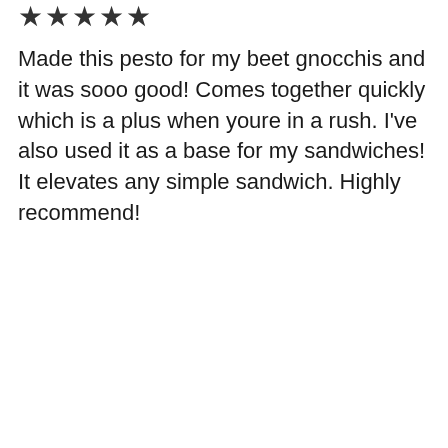[Figure (other): Five filled star rating icons]
Made this pesto for my beet gnocchis and it was sooo good! Comes together quickly which is a plus when youre in a rush. I've also used it as a base for my sandwiches! It elevates any simple sandwich. Highly recommend!
Reply
lena
Thank you so much for sharing your great